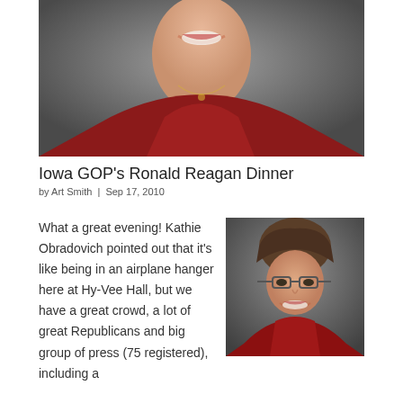[Figure (photo): Cropped close-up photo of a woman with red jacket, smiling, only lower face and torso visible]
Iowa GOP's Ronald Reagan Dinner
by Art Smith | Sep 17, 2010
What a great evening! Kathie Obradovich pointed out that it's like being in an airplane hanger here at Hy-Vee Hall, but we have a great crowd, a lot of great Republicans and big group of press (75 registered), including a
[Figure (photo): Portrait photo of a woman with glasses and short hair, wearing a red jacket, smiling]